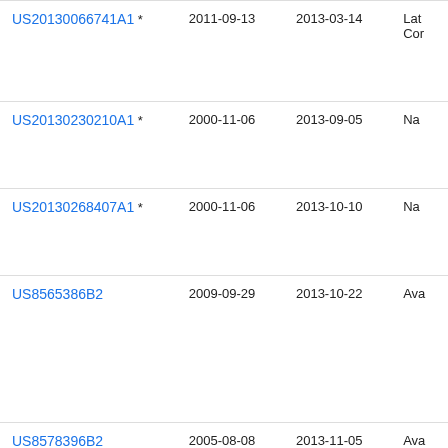| Patent | Priority Date | Publication Date | Assignee |
| --- | --- | --- | --- |
| US20130066741A1 * | 2011-09-13 | 2013-03-14 | Lat... Cor... |
| US20130230210A1 * | 2000-11-06 | 2013-09-05 | Na... |
| US20130268407A1 * | 2000-11-06 | 2013-10-10 | Na... |
| US8565386B2 | 2009-09-29 | 2013-10-22 | Ava... |
| US8578396B2 | 2005-08-08 | 2013-11-05 | Ava... |